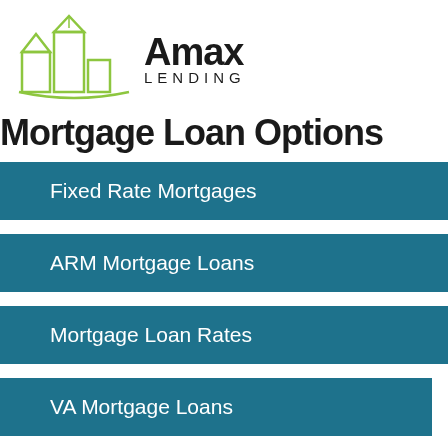[Figure (logo): Amax Lending logo with green building outline and text 'Amax LENDING']
Mortgage Loan Options
Fixed Rate Mortgages
ARM Mortgage Loans
Mortgage Loan Rates
VA Mortgage Loans